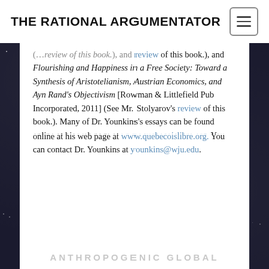THE RATIONAL ARGUMENTATOR
review of this book.), and Flourishing and Happiness in a Free Society: Toward a Synthesis of Aristotelianism, Austrian Economics, and Ayn Rand's Objectivism [Rowman & Littlefield Pub Incorporated, 2011] (See Mr. Stolyarov's review of this book.). Many of Dr. Younkins's essays can be found online at his web page at www.quebecoislibre.org. You can contact Dr. Younkins at younkins@wju.edu.
ANTHROPOGENIC GLOBAL